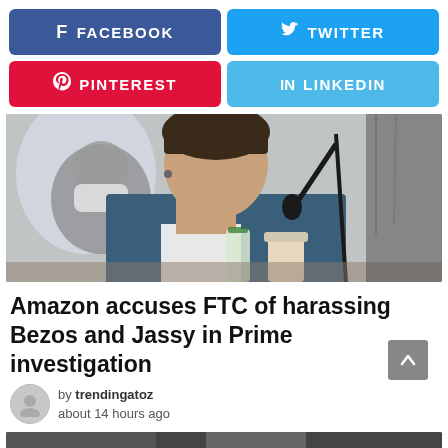[Figure (infographic): Social media share buttons: Facebook (blue), Twitter (light blue), Pinterest (red), LinkedIn (light blue)]
[Figure (photo): Person in a blue blazer and white shirt sitting at a hearing table with a microphone, water bottle and coffee cup in front; another person wearing a mask visible in background]
Amazon accuses FTC of harassing Bezos and Jassy in Prime investigation
by trendingatoz
about 14 hours ago
[Figure (photo): Bottom cropped photo strip, partially visible]